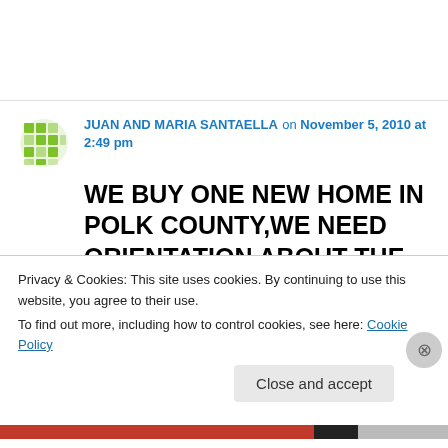JUAN AND MARIA SANTAELLA on November 5, 2010 at 2:49 pm
WE BUY ONE NEW HOME IN POLK COUNTY,WE NEED ORIENTATION ABOUT THE HOMESTEAD EXEMPTION, WE BUY THE HOME IN OCT 5,2010.WE NEED TO APPLY FOR THE HOMESTEAD EXEMPTIONS
Privacy & Cookies: This site uses cookies. By continuing to use this website, you agree to their use.
To find out more, including how to control cookies, see here: Cookie Policy
Close and accept